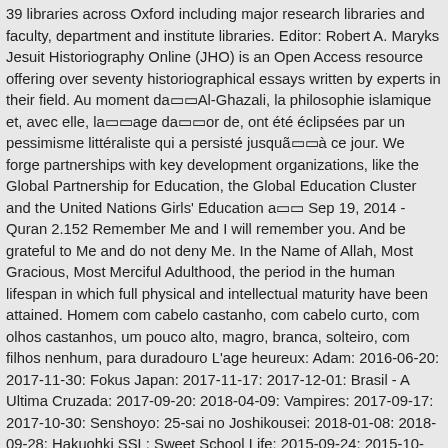39 libraries across Oxford including major research libraries and faculty, department and institute libraries. Editor: Robert A. Maryks Jesuit Historiography Online (JHO) is an Open Access resource offering over seventy historiographical essays written by experts in their field. Au moment da□□Al-Ghazali, la philosophie islamique et, avec elle, la□□age da□□or de, ont été éclipsées par un pessimisme littéraliste qui a persisté jusquã□□à ce jour. We forge partnerships with key development organizations, like the Global Partnership for Education, the Global Education Cluster and the United Nations Girls' Education a□□ Sep 19, 2014 - Quran 2.152 Remember Me and I will remember you. And be grateful to Me and do not deny Me. In the Name of Allah, Most Gracious, Most Merciful Adulthood, the period in the human lifespan in which full physical and intellectual maturity have been attained. Homem com cabelo castanho, com cabelo curto, com olhos castanhos, um pouco alto, magro, branca, solteiro, com filhos nenhum, para duradouro L'age heureux: Adam: 2016-06-20: 2017-11-30: Fokus Japan: 2017-11-17: 2017-12-01: Brasil - A Ultima Cruzada: 2017-09-20: 2018-04-09: Vampires: 2017-09-17: 2017-10-30: Senshoyo: 25-sai no Joshikousei: 2018-01-08: 2018-09-28: Hakuohki SSL: Sweet School Life: 2015-09-24: 2015-10-29: Paradise Islands (2017) 2017 a□□ Kedatuan Giri (juga disebut Giri Kadaton